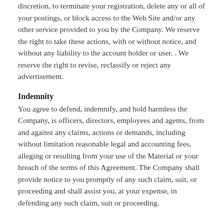discretion, to terminate your registration, delete any or all of your postings, or block access to the Web Site and/or any other service provided to you by the Company. We reserve the right to take these actions, with or without notice, and without any liability to the account holder or user. . We reserve the right to revise, reclassify or reject any advertisement.
Indemnity
You agree to defend, indemnify, and hold harmless the Company, is officers, directors, employees and agents, from and against any claims, actions or demands, including without limitation reasonable legal and accounting fees, alleging or resulting from your use of the Material or your breach of the terms of this Agreement. The Company shall provide notice to you promptly of any such claim, suit, or proceeding and shall assist you, at your expense, in defending any such claim, suit or proceeding.